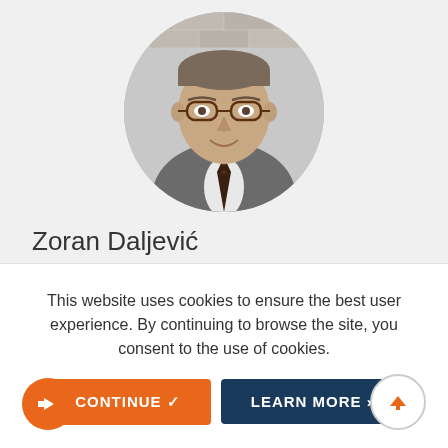[Figure (photo): Circular portrait photo of Zoran Daljević, a middle-aged man wearing glasses and a grey suit with a dark tie, smiling, against a brick wall background]
Zoran Daljević
Atlantic Council Representative Office Direct...
This website uses cookies to ensure the best user experience. By continuing to browse the site, you consent to the use of cookies.